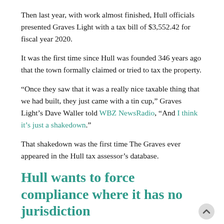Then last year, with work almost finished, Hull officials presented Graves Light with a tax bill of $3,552.42 for fiscal year 2020.
It was the first time since Hull was founded 346 years ago that the town formally claimed or tried to tax the property.
“Once they saw that it was a really nice taxable thing that we had built, they just came with a tin cup,” Graves Light’s Dave Waller told WBZ NewsRadio, “And I think it’s just a shakedown.”
That shakedown was the first time The Graves ever appeared in the Hull tax assessor’s database.
Hull wants to force compliance where it has no jurisdiction
“Lampke, in an interview and in court filings, framed the issue as ensuring compliance with the law,” according to the Hull Times.